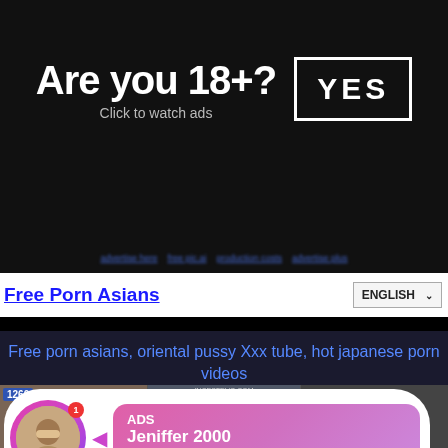[Figure (infographic): Age verification banner: 'Are you 18+? YES' with 'Click to watch ads' subtitle on dark background]
nav links row (blurred/illegible)
Free Porn Asians
ENGLISH dropdown
Free porn asians, oriental pussy Xxx tube, hot japanese porn videos
[Figure (screenshot): Video thumbnails with ad overlay popup showing 'ADS Jeniffer 2000 (00:12)' with avatar and LIVE badge, number badges 1260 and 2016]